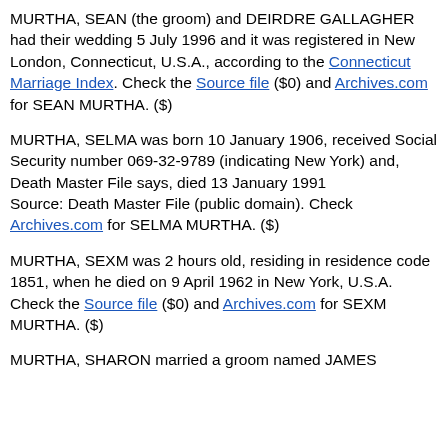MURTHA, SEAN (the groom) and DEIRDRE GALLAGHER had their wedding 5 July 1996 and it was registered in New London, Connecticut, U.S.A., according to the Connecticut Marriage Index. Check the Source file ($0) and Archives.com for SEAN MURTHA. ($)
MURTHA, SELMA was born 10 January 1906, received Social Security number 069-32-9789 (indicating New York) and, Death Master File says, died 13 January 1991 Source: Death Master File (public domain). Check Archives.com for SELMA MURTHA. ($)
MURTHA, SEXM was 2 hours old, residing in residence code 1851, when he died on 9 April 1962 in New York, U.S.A. Check the Source file ($0) and Archives.com for SEXM MURTHA. ($)
MURTHA, SHARON married a groom named JAMES